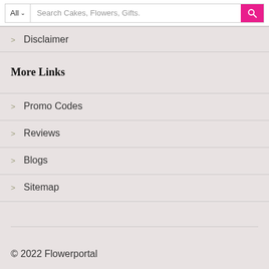All ∨  Search Cakes, Flowers, Gifts.
Disclaimer
More Links
Promo Codes
Reviews
Blogs
Sitemap
© 2022 Flowerportal